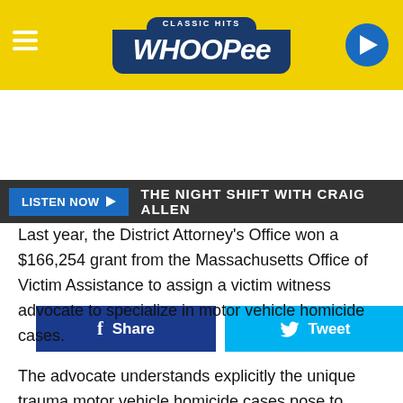[Figure (logo): Classic Hits Whoopee radio station logo on yellow background with hamburger menu and play button]
LISTEN NOW ▶  THE NIGHT SHIFT WITH CRAIG ALLEN
[Figure (infographic): Facebook Share button and Twitter Tweet button]
Last year, the District Attorney's Office won a $166,254 grant from the Massachusetts Office of Victim Assistance to assign a victim witness advocate to specialize in motor vehicle homicide cases.
The advocate understands explicitly the unique trauma motor vehicle homicide cases pose to families and loved ones, helps them navigate the court process, and connects them with community services.